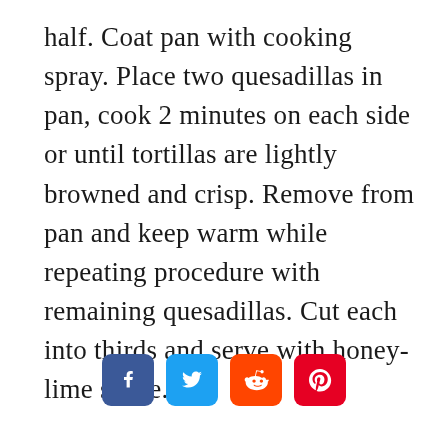half. Coat pan with cooking spray. Place two quesadillas in pan, cook 2 minutes on each side or until tortillas are lightly browned and crisp. Remove from pan and keep warm while repeating procedure with remaining quesadillas. Cut each into thirds and serve with honey-lime sauce.
[Figure (other): Social media share icons: Facebook (blue), Twitter (light blue), Reddit (orange), Pinterest (red)]